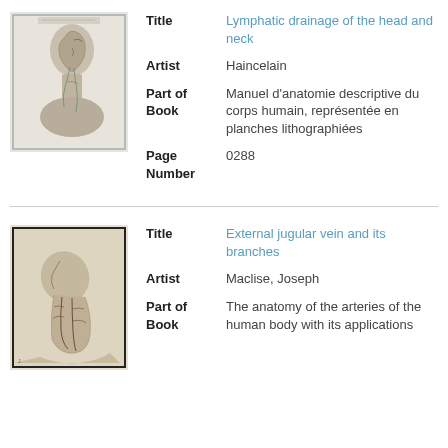[Figure (illustration): Anatomical illustration of lymphatic drainage of the head and neck, showing a lateral view of the head with musculature and lymphatic vessels exposed, framed with a light border.]
| Title | Lymphatic drainage of the head and neck |
| Artist | Haincelain |
| Part of Book | Manuel d'anatomie descriptive du corps humain, représentée en planches lithographiées |
| Page Number | 0288 |
[Figure (illustration): Anatomical illustration showing the external jugular vein and its branches, depicting a person's head tilted back exposing the neck vessels, with musculature detail.]
| Title | External jugular vein and its branches |
| Artist | Maclise, Joseph |
| Part of Book | The anatomy of the arteries of the human body with its applications |